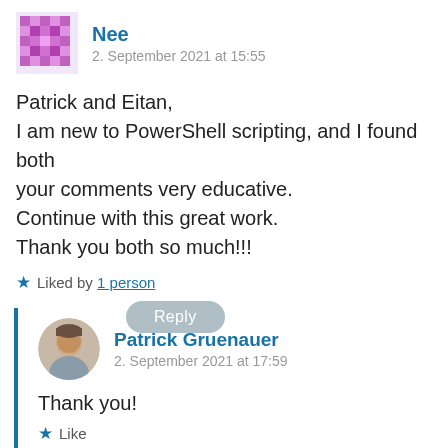Nee
2. September 2021 at 15:55
Patrick and Eitan,
I am new to PowerShell scripting, and I found both your comments very educative.
Continue with this great work.
Thank you both so much!!!
Liked by 1 person
Reply
Patrick Gruenauer
2. September 2021 at 17:59
Thank you!
Like
Reply